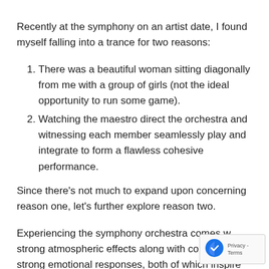Recently at the symphony on an artist date, I found myself falling into a trance for two reasons:
There was a beautiful woman sitting diagonally from me with a group of girls (not the ideal opportunity to run some game).
Watching the maestro direct the orchestra and witnessing each member seamlessly play and integrate to form a flawless cohesive performance.
Since there's not much to expand upon concerning reason one, let's further explore reason two.
Experiencing the symphony orchestra comes with strong atmospheric effects along with conjuring strong emotional responses, both of which inspire